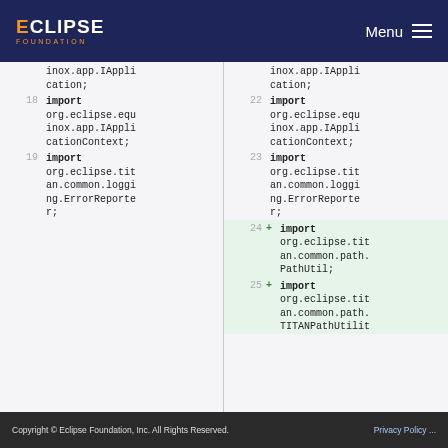Eclipse Foundation — Menu
Left panel code diff lines 18-19:
18 import org.eclipse.equinox.app.IApplicationContext;
19 import org.eclipse.titan.common.logging.ErrorReporter;
Right panel code diff lines 22-25:
22 import org.eclipse.equinox.app.IApplicationContext;
23 import org.eclipse.titan.common.logging.ErrorReporter;
24 + import org.eclipse.titan.common.path.PathUtil;
25 + import org.eclipse.titan.common.path.TITANPathUtilit...
Copyright © Eclipse Foundation, Inc. All Rights Reserved.    Privacy Policy ...